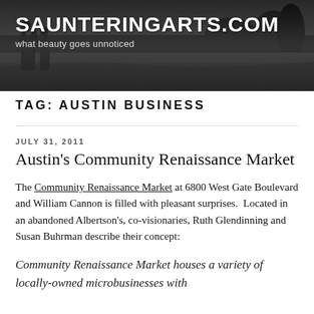[Figure (photo): Black and white header banner showing silhouetted figures on a beach with rocks, dark moody sky]
SAUNTERINGARTS.COM
what beauty goes unnoticed
TAG: AUSTIN BUSINESS
JULY 31, 2011
Austin's Community Renaissance Market
The Community Renaissance Market at 6800 West Gate Boulevard and William Cannon is filled with pleasant surprises.  Located in an abandoned Albertson's, co-visionaries, Ruth Glendinning and Susan Buhrman describe their concept:
Community Renaissance Market houses a variety of locally-owned microbusinesses with